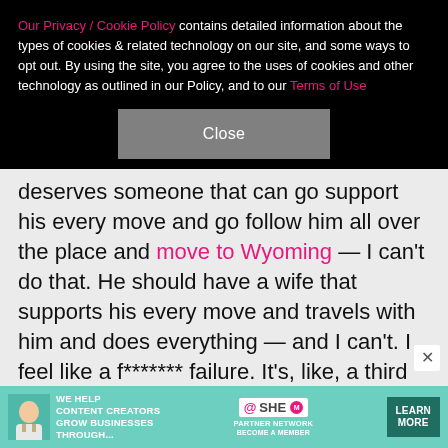Our Privacy / Cookie Policy contains detailed information about the types of cookies & related technology on our site, and some ways to opt out. By using the site, you agree to the uses of cookies and other technology as outlined in our Policy, and to our Terms of Use
Close
deserves someone that can go support his every move and go follow him all over the place and move to Wyoming — I can't do that. He should have a wife that supports his every move and travels with him and does everything — and I can't. I feel like a f******* failure. It's, like, a third f****** marriage. Yeah, I feel like a f****** loser. But I can't even think about that. I want to be happy." During another point in the episode, the mother of four — who was previously married to Damon
[Figure (screenshot): Advertisement banner for SHE Media Partner Network with text 'We help content creators grow businesses through...' and 'Learn More' button]